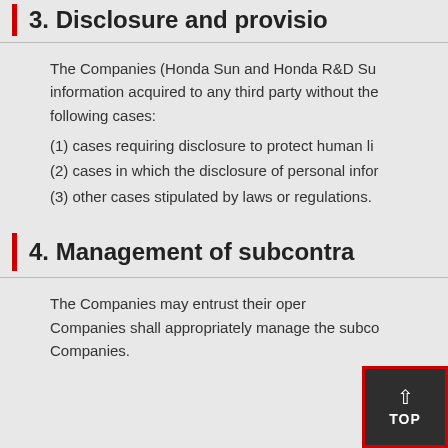3. Disclosure and provision...
The Companies (Honda Sun and Honda R&D Su... information acquired to any third party without the... following cases:
(1) cases requiring disclosure to protect human li...
(2) cases in which the disclosure of personal infor...
(3) other cases stipulated by laws or regulations.
4. Management of subcontra...
The Companies may entrust their oper... Companies shall appropriately manage the subco... Companies.